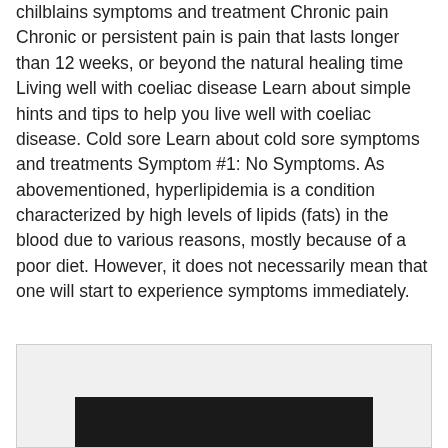chilblains symptoms and treatment Chronic pain Chronic or persistent pain is pain that lasts longer than 12 weeks, or beyond the natural healing time Living well with coeliac disease Learn about simple hints and tips to help you live well with coeliac disease. Cold sore Learn about cold sore symptoms and treatments Symptom #1: No Symptoms. As abovementioned, hyperlipidemia is a condition characterized by high levels of lipids (fats) in the blood due to various reasons, mostly because of a poor diet. However, it does not necessarily mean that one will start to experience symptoms immediately.
[Figure (photo): A dark/black image partially visible at the bottom of a light grey box, suggesting a photo or screenshot below the fold.]